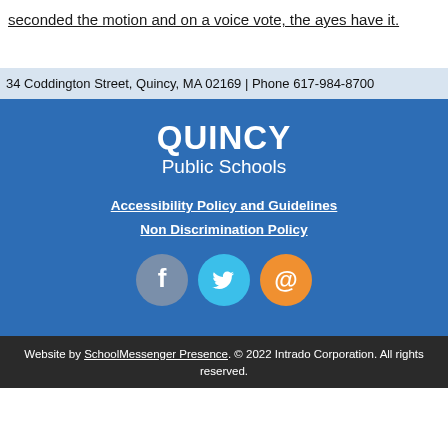seconded the motion and on a voice vote, the ayes have it.
34 Coddington Street, Quincy, MA 02169 | Phone 617-984-8700
[Figure (logo): Quincy Public Schools logo with QUINCY in bold white text and Public Schools below on blue background]
Accessibility Policy and Guidelines
Non Discrimination Policy
[Figure (other): Social media icons: Facebook (grey circle), Twitter (blue circle), Email (orange circle)]
Website by SchoolMessenger Presence. © 2022 Intrado Corporation. All rights reserved.